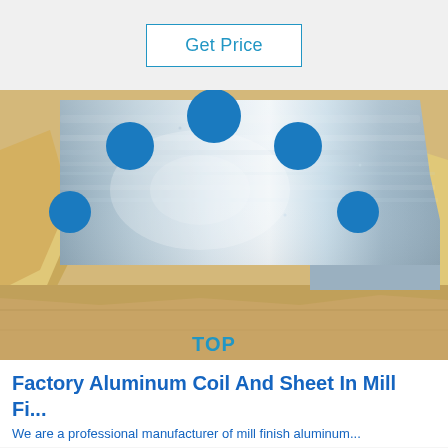Get Price
[Figure (photo): Aluminum coil and sheet in mill finish, shown unwrapped from yellow/beige protective packaging. The metallic silver-gray aluminum sheet is partially unrolled and gleaming under studio lighting.]
Factory Aluminum Coil And Sheet In Mill Fi...
We are a professional manufacturer of mill finish aluminum...